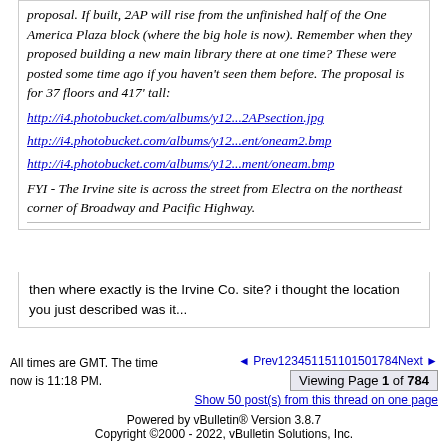proposal. If built, 2AP will rise from the unfinished half of the One America Plaza block (where the big hole is now). Remember when they proposed building a new main library there at one time? These were posted some time ago if you haven't seen them before. The proposal is for 37 floors and 417' tall:
http://i4.photobucket.com/albums/y12...2APsection.jpg
http://i4.photobucket.com/albums/y12...ent/oneam2.bmp
http://i4.photobucket.com/albums/y12...ment/oneam.bmp
FYI - The Irvine site is across the street from Electra on the northeast corner of Broadway and Pacific Highway.
then where exactly is the Irvine Co. site? i thought the location you just described was it...
All times are GMT. The time now is 11:18 PM. | Prev 1 2 3 4 5 1 15 1 10 1501784 Next | Viewing Page 1 of 784 | Show 50 post(s) from this thread on one page | Powered by vBulletin® Version 3.8.7 | Copyright ©2000 - 2022, vBulletin Solutions, Inc.